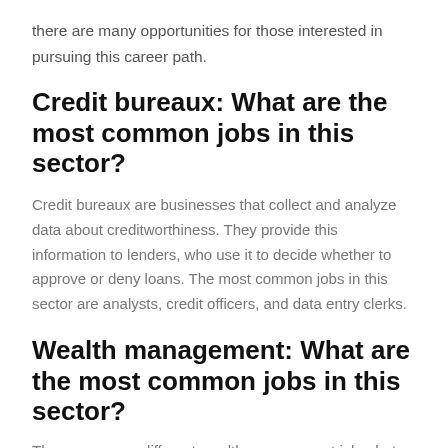there are many opportunities for those interested in pursuing this career path.
Credit bureaux: What are the most common jobs in this sector?
Credit bureaux are businesses that collect and analyze data about creditworthiness. They provide this information to lenders, who use it to decide whether to approve or deny loans. The most common jobs in this sector are analysts, credit officers, and data entry clerks.
Wealth management: What are the most common jobs in this sector?
There are many different wealth management jobs, but some of the most common include investment...